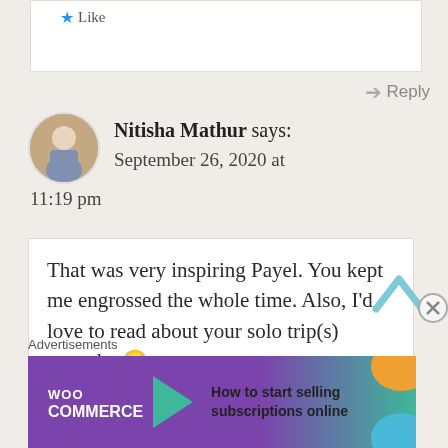Like
Reply
Nitisha Mathur says: September 26, 2020 at 11:19 pm
That was very inspiring Payel. You kept me engrossed the whole time. Also, I’d love to read about your solo trip(s) someday😊
Advertisements
[Figure (screenshot): WooCommerce advertisement banner: 'How to start selling subscriptions online']